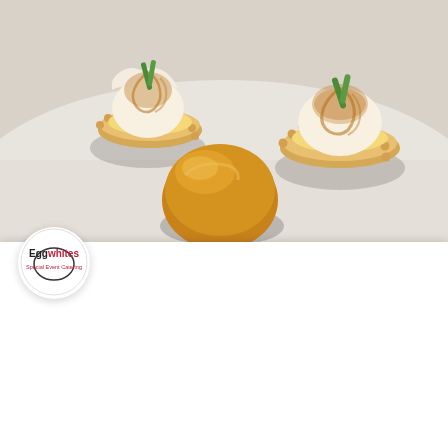[Figure (photo): Overhead close-up photo of small dessert pastries on a light surface: two mini meringue tarts with golden-brown swirled meringue tops and green leaf garnishes, and one caramel cream puff, all viewed from above.]
Catering Associate
Welcome to Eggwhites Catering! Let’s plan your next event! How may we assist you?
Reply to Catering Associate
Chat ⚡ by Drift